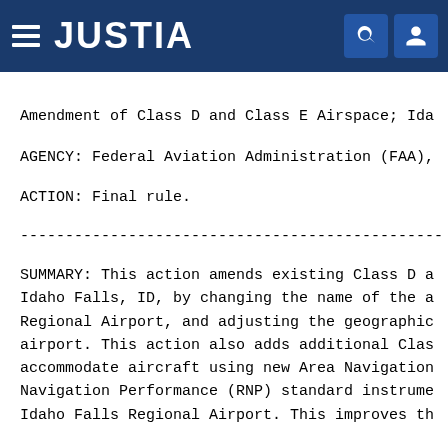JUSTIA
Amendment of Class D and Class E Airspace; Ida...
AGENCY: Federal Aviation Administration (FAA),
ACTION: Final rule.
-----------------------------------------------
SUMMARY: This action amends existing Class D a Idaho Falls, ID, by changing the name of the a Regional Airport, and adjusting the geographic airport. This action also adds additional Clas accommodate aircraft using new Area Navigation Navigation Performance (RNP) standard instrume Idaho Falls Regional Airport. This improves th